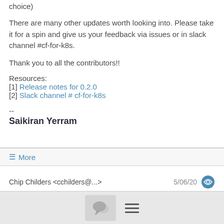choice)
There are many other updates worth looking into. Please take it for a spin and give us your feedback via issues or in slack channel #cf-for-k8s.
Thank you to all the contributors!!
Resources:
[1] Release notes for 0.2.0
[2] Slack channel # cf-for-k8s
--
Saikiran Yerram
≡ More
Chip Childers <cchilders@...>
5/06/20
[Figure (illustration): Chat bubble icon button and hamburger menu icon in bottom navigation bar]